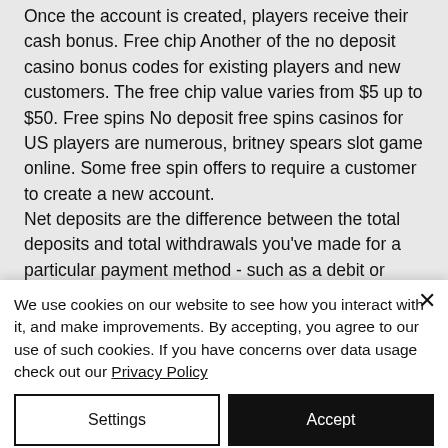Once the account is created, players receive their cash bonus. Free chip Another of the no deposit casino bonus codes for existing players and new customers. The free chip value varies from $5 up to $50. Free spins No deposit free spins casinos for US players are numerous, britney spears slot game online. Some free spin offers to require a customer to create a new account. Net deposits are the difference between the total deposits and total withdrawals you've made for a particular payment method - such as a debit or credit. Bet £10 get £40 in free
We use cookies on our website to see how you interact with it, and make improvements. By accepting, you agree to our use of such cookies. If you have concerns over data usage check out our Privacy Policy